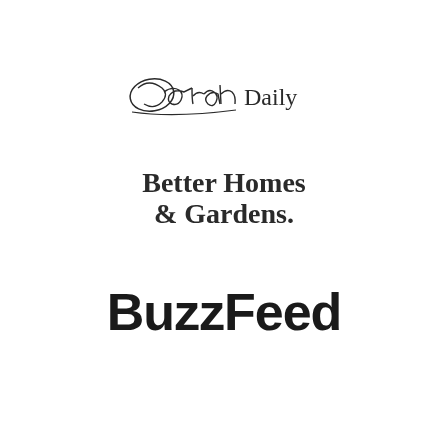[Figure (logo): Oprah Daily logo with cursive Oprah signature in script and 'Daily' in serif text]
[Figure (logo): Better Homes & Gardens logo in bold serif typeface, two lines]
[Figure (logo): BuzzFeed logo in bold black sans-serif typeface]
[Figure (logo): HuffPost logo in bold italic gray letters on light gray footer bar]